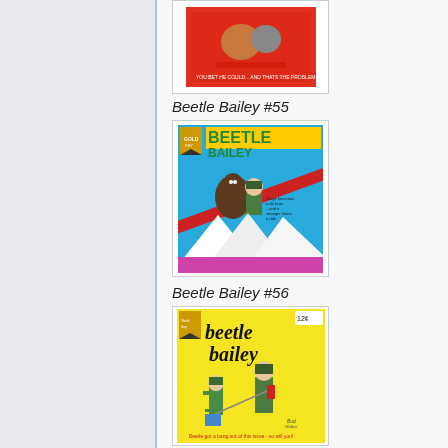[Figure (illustration): Partial comic book cover visible at top, cut off]
Beetle Bailey #55
[Figure (illustration): Beetle Bailey #55 comic book cover showing characters on a ski slope, blue background, Gold Key comics]
Beetle Bailey #56
[Figure (illustration): Beetle Bailey #56 comic book cover with yellow background, showing cartoon characters, text reads 'beetle got a bang out of this issue - so will you!']